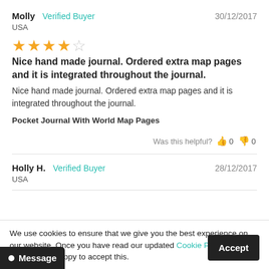Molly  Verified Buyer  30/12/2017  USA
[Figure (other): 4 filled stars and 1 empty star rating]
Nice hand made journal. Ordered extra map pages and it is integrated throughout the journal.
Nice hand made journal. Ordered extra map pages and it is integrated throughout the journal.
Pocket Journal With World Map Pages
Was this helpful?  👍 0  👎 0
Holly H.  Verified Buyer  28/12/2017  USA
We use cookies to ensure that we give you the best experience on our website. Once you have read our updated Cookie Policy, confirm that you are happy to accept this.